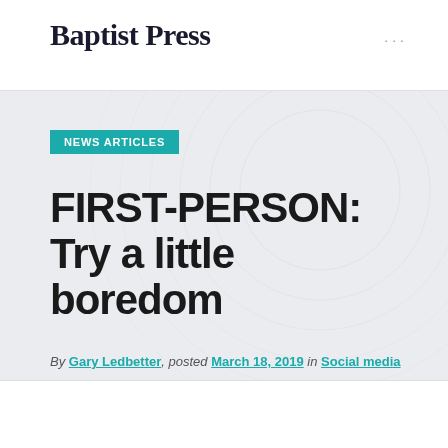Baptist Press
NEWS ARTICLES
FIRST-PERSON: Try a little boredom
By Gary Ledbetter, posted March 18, 2019 in Social media
[Figure (photo): Headshot photo of a person, partially visible at the bottom of the page]
META DATA: